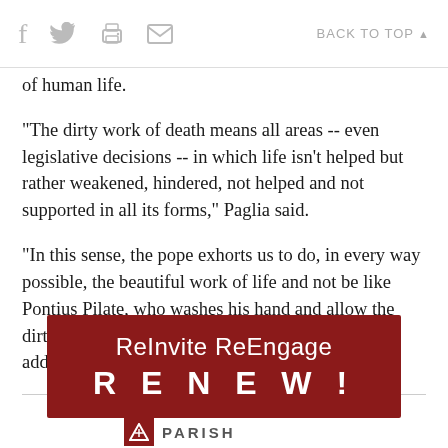f [twitter] [print] [mail]   BACK TO TOP ▲
of human life.
"The dirty work of death means all areas -- even legislative decisions -- in which life isn't helped but rather weakened, hindered, not helped and not supported in all its forms," Paglia said.
"In this sense, the pope exhorts us to do, in every way possible, the beautiful work of life and not be like Pontius Pilate, who washes his hand and allow the dirty of work of death to cast innocents aside," he added.
[Figure (other): Advertisement banner with dark red background reading 'ReInvite ReEngage RENEW!' in white text]
PARISH